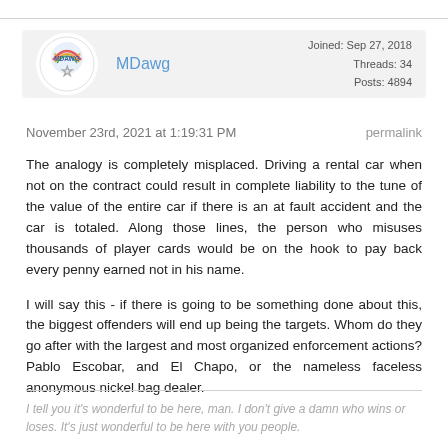[Figure (other): User profile card for MDawg with avatar logo, username in blue, and user stats showing Joined: Sep 27, 2018, Threads: 34, Posts: 4894]
November 23rd, 2021 at 1:19:31 PM
permalink
The analogy is completely misplaced. Driving a rental car when not on the contract could result in complete liability to the tune of the value of the entire car if there is an at fault accident and the car is totaled. Along those lines, the person who misuses thousands of player cards would be on the hook to pay back every penny earned not in his name.
I will say this - if there is going to be something done about this, the biggest offenders will end up being the targets. Whom do they go after with the largest and most organized enforcement actions? Pablo Escobar, and El Chapo, or the nameless faceless anonymous nickel bag dealer.
I tell you it's wonderful to be here, man. I don't give a damn who wins or loses. It's just wonderful to be here with you people.